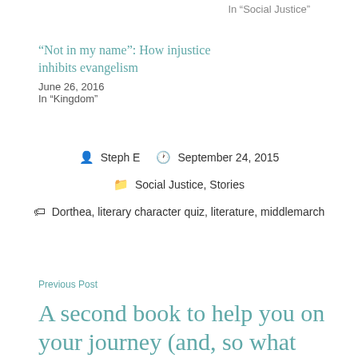In "Social Justice"
“Not in my name”: How injustice inhibits evangelism
June 26, 2016
In "Kingdom"
Steph E   September 24, 2015
Social Justice, Stories
Dorthea, literary character quiz, literature, middlemarch
Previous Post
A second book to help you on your journey (and, so what can I DO??)